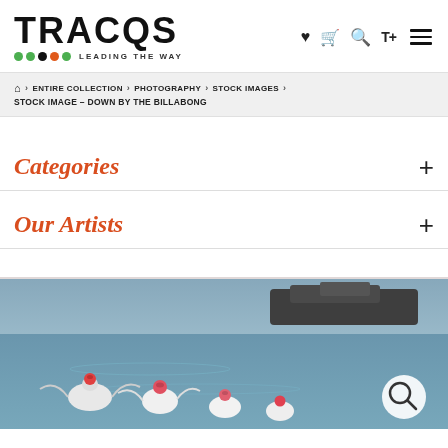[Figure (logo): TRACQS logo with colorful dots and tagline LEADING THE WAY]
[Figure (infographic): Navigation icons: heart, cart, search, text size, hamburger menu]
🏠 > ENTIRE COLLECTION > PHOTOGRAPHY > STOCK IMAGES > STOCK IMAGE – DOWN BY THE BILLABONG
Categories +
Our Artists +
[Figure (photo): Photo of pink galahs / cockatoos by a billabong waterway with rocky shore in background]